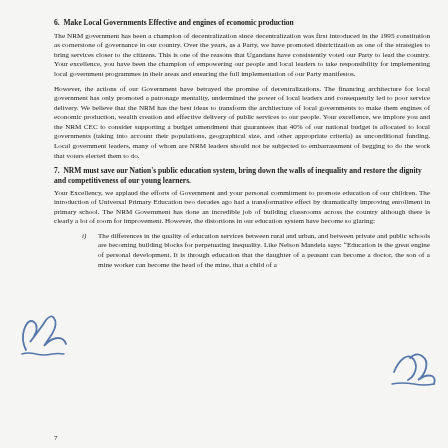6.  Make Local Governments Effective and engines of economic production
The NRM government has been a champion of decentralization since decentralization was first introduced in the 1995 constitution as cornerstone of governance in our country. Over the years, as a Party, we have promoted districtization as one of the strategies to bring services closer to the citizens. This is one of the reasons that Ugandans have consistently voted our Party to lead the country. Your excellence, you have been the champion of empowering our people and local leaders to take responsibility for implementing local government programmes in their areas and ensuring the full implementation of our Party manifestos.
However, the actions of our Government have betrayed the promise of decentralizations. The financing architecture for local government has only promoted a patronage mentality, undermined the power of local leaders and consequently led to poor service delivery. We believe that the NRM has the best ideas to transform the architecture of local governments to make them engines of economic production, wealth creation and effective delivery of public services to our people. Your excellence, we implore you and the NRM CEC to consider supporting a budget amendment that guarantees that 40% of our national budget is allocated to local governments (taking into account their populations, geographical size, and other appropriate criteria) as unconditional funding. Local government leaders, many of whom are NRM leaders should not be subjected to embarrassment of begging to do the work that voters elected them to do.
7.  NRM must save our Nation's public education system, bring down the walls of inequality and restore the dignity and competitiveness of our young learners.
Your Excellency, we applaud the efforts of Government and your personal commitment to promote education of our children. The introduction of Universal Primary Education two decades ago had a transformative effect by dramatically improving enrollment in primary school. The NRM Government has done an incredible job of building classrooms across the country although there is clearly a lot of room for improvement. However, the distortions in our education system have become so glaring:
i)	The differences in the quality of education services between rural and urban, and between private and public schools are becoming building blocks for perpetuating inequality. Like Nelson Mandela says: "Education is the great engine of personal development. It is through education that the daughter of a peasant can become a doctor, the son of a mine worker can become the head of the mine, that a child of a
7